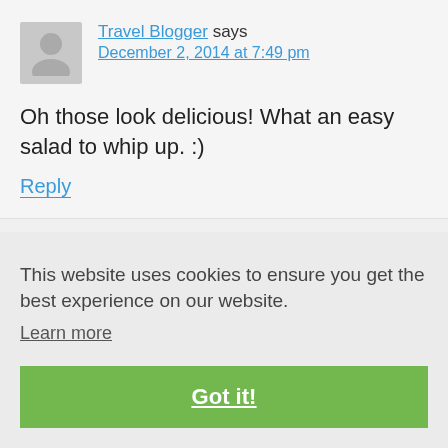[Figure (illustration): Grey avatar/profile placeholder icon for Travel Blogger]
Travel Blogger says
December 2, 2014 at 7:49 pm
Oh those look delicious! What an easy salad to whip up. :)
Reply
This website uses cookies to ensure you get the best experience on our website.
Learn more
Got it!